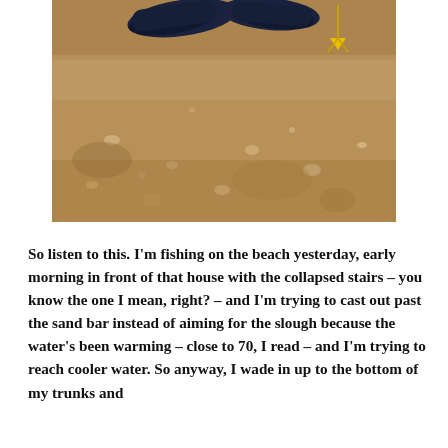[Figure (photo): Close-up photo of sandy beach with a pair of dark blue/black shoes visible at the top and what appears to be a small yellow object (possibly a fishing lure or marker) stuck in the sand at upper right. The sand is brownish-tan with various small pebbles and shells visible.]
So listen to this. I'm fishing on the beach yesterday, early morning in front of that house with the collapsed stairs – you know the one I mean, right? – and I'm trying to cast out past the sand bar instead of aiming for the slough because the water's been warming – close to 70, I read – and I'm trying to reach cooler water. So anyway, I wade in up to the bottom of my trunks and